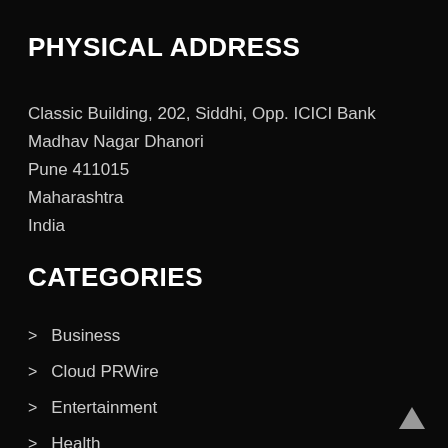PHYSICAL ADDRESS
Classic Building, 202, Siddhi, Opp. ICICI Bank
Madhav Nagar Dhanori
Pune 411015
Maharashtra
India
CATEGORIES
Business
Cloud PRWire
Entertainment
Health
Lifestyle